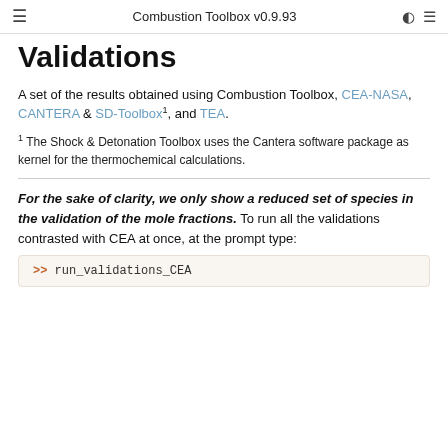Combustion Toolbox v0.9.93
Validations
A set of the results obtained using Combustion Toolbox, CEA-NASA, CANTERA & SD-Toolbox¹, and TEA.
1 The Shock & Detonation Toolbox uses the Cantera software package as kernel for the thermochemical calculations.
For the sake of clarity, we only show a reduced set of species in the validation of the mole fractions. To run all the validations contrasted with CEA at once, at the prompt type:
>> run_validations_CEA